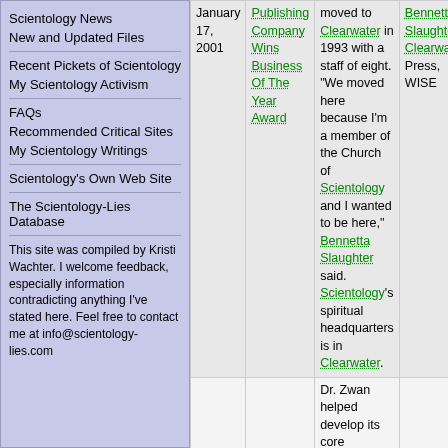Scientology News
New and Updated Files
Recent Pickets of Scientology
My Scientology Activism
FAQs
Recommended Critical Sites
My Scientology Writings
Scientology's Own Web Site
The Scientology-Lies Database
This site was compiled by Kristi Wachter. I welcome feedback, especially information contradicting anything I've stated here. Feel free to contact me at info@scientology-lies.com
| Date | Title | Body | Tags |
| --- | --- | --- | --- |
| January 17, 2001 | Publishing Company Wins Business Of The Year Award | moved to Clearwater in 1993 with a staff of eight. "We moved here because I'm a member of the Church of Scientology and I wanted to be here," Bennetta Slaughter said. Scientology's spiritual headquarters is in Clearwater. | Bennetta Slaughter, Clearwater, Press, WISE |
|  |  | Dr. Zwan helped develop its core technology, but he never got it to turn a consistent profit. In its early years, the company also became known in the marketplace for its founder's association with |  |